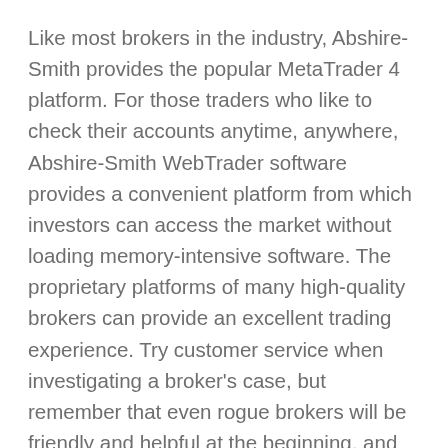Like most brokers in the industry, Abshire-Smith provides the popular MetaTrader 4 platform. For those traders who like to check their accounts anytime, anywhere, Abshire-Smith WebTrader software provides a convenient platform from which investors can access the market without loading memory-intensive software. The proprietary platforms of many high-quality brokers can provide an excellent trading experience. Try customer service when investigating a broker's case, but remember that even rogue brokers will be friendly and helpful at the beginning, and then show their true colors.
These account options may sound tempting, but trading on Abshire-Smith is nothing more than a scam. From our thorough and exhaustive research...